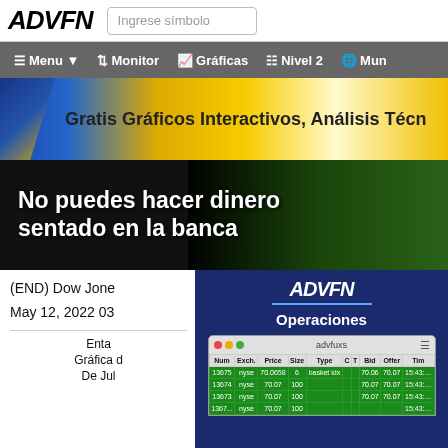ADVFN | Ingrese símbolo
Menu | Monitor | Gráficas | Nivel 2 | Mun
[Figure (infographic): Yellow/blue gradient banner with text: Gratis Gráficos Interactivos, Análisis Técn...]
[Figure (infographic): Black banner with sports background: No puedes hacer dinero sentado en la banca]
(END) Dow Jone...
May 12, 2022 03...
[Figure (screenshot): ADVFN Operaciones panel showing trade table with Num, Exch, Price, Size, Type, C, T, Bid, Offer, Tim columns. Rows showing trades at nyse: 13675 70.0658 basket idx 70.06 70.07 15:43; 13674 70.07 100 70.07 70.07 15:43; 13673 70.07 100 70.07 70.07 15:43]
Enta... Gráfica d... De Jul ...